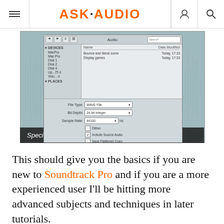ASK·AUDIO
[Figure (screenshot): A screenshot of an audio export dialog in Soundtrack Pro, showing a file browser with devices listed (MacPro, Mac Pro, Disk 1, Disk 2, Disk 4, etc.) and a file list area with two files dated Today, 17:33. Below is a form with File Type (WAVE File), Bit Depth (24-bit Integer), Sample Rate (44100 Hz), and checkboxes for Dither, Include Source Audio, and Save Flattened Copy. The bottom bar has Add Automix, New Folder, Cancel, and Save buttons.]
Specific audio export options are also available
This should give you the basics if you are new to Soundtrack Pro and if you are a more experienced user I'll be hitting more advanced subjects and techniques in later tutorials.